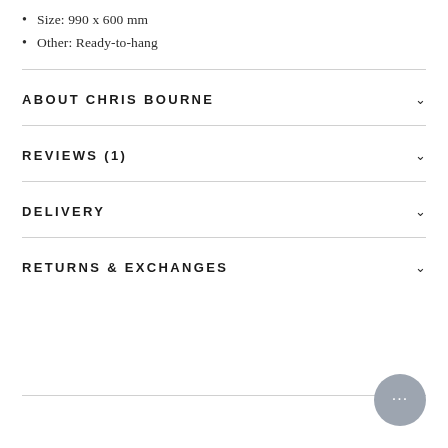Size: 990 x 600 mm
Other: Ready-to-hang
ABOUT CHRIS BOURNE
REVIEWS (1)
DELIVERY
RETURNS & EXCHANGES